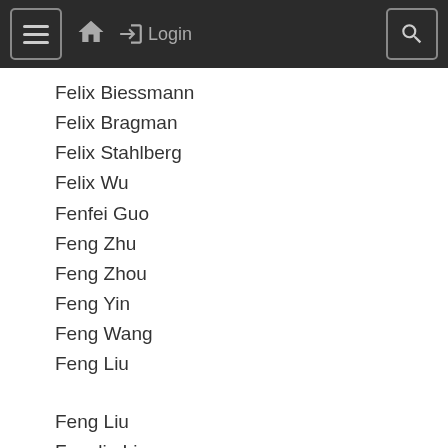≡  🏠  ➔ Login  🔍
Felix Biessmann
Felix Bragman
Felix Stahlberg
Felix Wu
Fenfei Guo
Feng Zhu
Feng Zhou
Feng Yin
Feng Wang
Feng Liu
Feng Liu
Fenglin Liu
Fenglong Ma
Fengxiang He
Ferdinando Fioretto
Ferdinando Cicalese
Fernando Martínez-Plumed
Fernando Gama